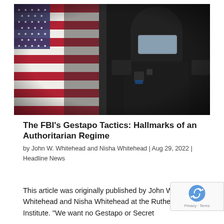[Figure (photo): A composite image showing an American flag on the left and a riot police officer in full tactical gear (black helmet with visor, body armor) on the right, set against a dark background.]
The FBI's Gestapo Tactics: Hallmarks of an Authoritarian Regime
by John W. Whitehead and Nisha Whitehead | Aug 29, 2022 |
Headline News
This article was originally published by John W. Whitehead and Nisha Whitehead at the Rutherford Institute. "We want no Gestapo or Secret